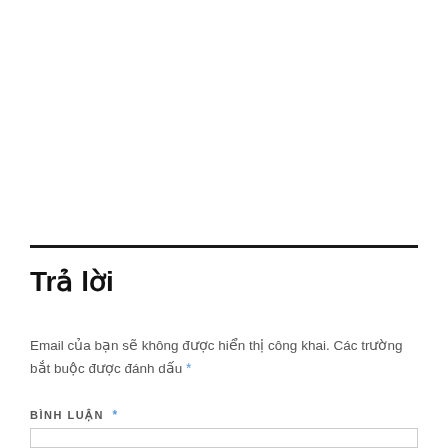Trả lời
Email của bạn sẽ không được hiển thị công khai. Các trường bắt buộc được đánh dấu *
BÌNH LUẬN *